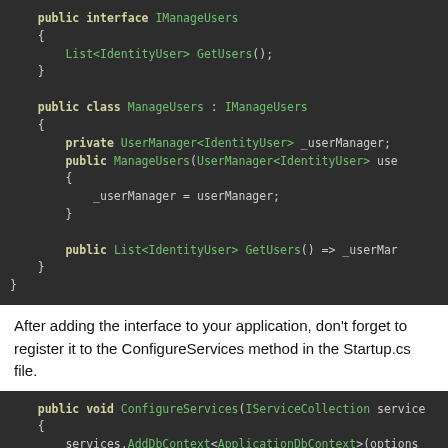[Figure (screenshot): Code block showing C# interface and class definitions: public interface IManageUsers with List<IdentityUser> GetUsers(); method, and public class ManageUsers : IManageUsers with private UserManager<IdentityUser> _userManager field, constructor, and GetUsers() method.]
After adding the interface to your application, don't forget to register it to the ConfigureServices method in the Startup.cs file.
[Figure (screenshot): Code block showing beginning of ConfigureServices method: public void ConfigureServices(IServiceCollection service { services.AddDbContext<ApplicationDbContext>(options options.UseSqlServer(]